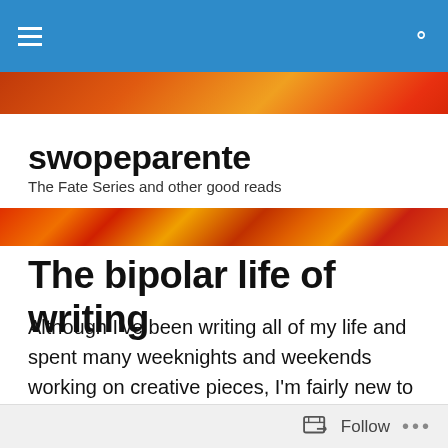swopeparente navigation bar
[Figure (illustration): Flame/fire texture banner image at top of blog]
swopeparente
The Fate Series and other good reads
[Figure (illustration): Flame/fire texture banner image below site header]
The bipolar life of writing
Although I've been writing all of my life and spent many weeknights and weekends working on creative pieces, I'm fairly new to the author's profession. Twist of Fate will be the first book I've had published. Like my coauthor and mother, I wish I'd started earlier; but I'm ever so glad I finally got around to it.
Follow